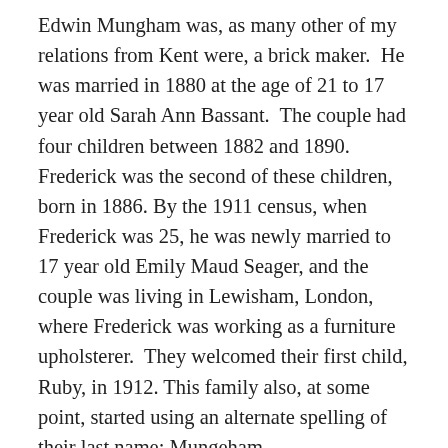Edwin Mungham was, as many other of my relations from Kent were, a brick maker. He was married in 1880 at the age of 21 to 17 year old Sarah Ann Bassant. The couple had four children between 1882 and 1890. Frederick was the second of these children, born in 1886. By the 1911 census, when Frederick was 25, he was newly married to 17 year old Emily Maud Seager, and the couple was living in Lewisham, London, where Frederick was working as a furniture upholsterer. They welcomed their first child, Ruby, in 1912. This family also, at some point, started using an alternate spelling of their last name: Mungeham.
Frederick's records are burnt, therefore I am not entirely sure when he enlisted in the Royal Field Artillery, but it must have been early in the war as he was in Belgium by the fall of 1915. Records related